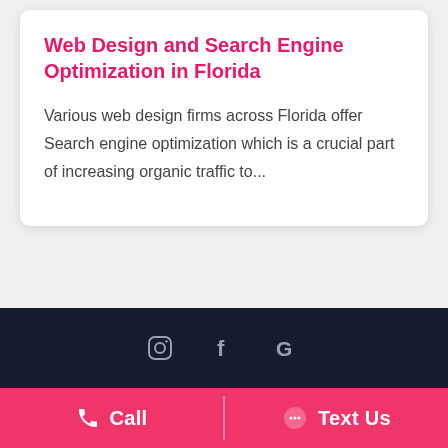Web Design and Search Engine Optimization in Florida
Various web design firms across Florida offer Search engine optimization which is a crucial part of increasing organic traffic to...
[Figure (other): Footer with social media icons: Instagram, Facebook, Google on dark navy background]
[Figure (other): Pink CTA bar with two buttons: Call (phone icon) and Text Us (message icon)]